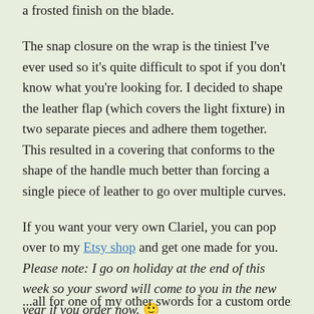a frosted finish on the blade.
The snap closure on the wrap is the tiniest I've ever used so it's quite difficult to spot if you don't know what you're looking for. I decided to shape the leather flap (which covers the light fixture) in two separate pieces and adhere them together. This resulted in a covering that conforms to the shape of the handle much better than forcing a single piece of leather to go over multiple curves.
If you want your very own Clariel, you can pop over to my Etsy shop and get one made for you. Please note: I go on holiday at the end of this week so your sword will come to you in the new year if you order now. 🙂
...all for one of my other swords for a custom order...